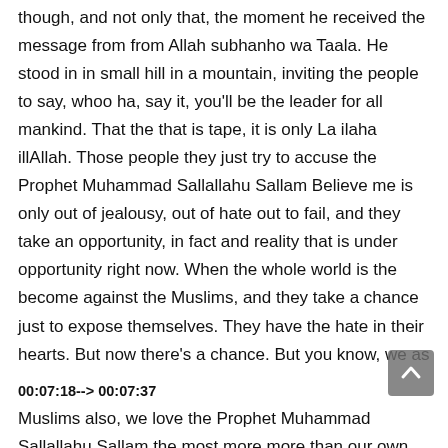though, and not only that, the moment he received the message from from Allah subhanho wa Taala. He stood in in small hill in a mountain, inviting the people to say, whoo ha, say it, you'll be the leader for all mankind. That the that is tape, it is only La ilaha illAllah. Those people they just try to accuse the Prophet Muhammad Sallallahu Sallam Believe me is only out of jealousy, out of hate out to fail, and they take an opportunity, in fact and reality that is under opportunity right now. When the whole world is the become against the Muslims, and they take a chance just to expose themselves. They have the hate in their hearts. But now there's a chance. But you know, we as
00:07:18--> 00:07:37
Muslims also, we love the Prophet Muhammad Sallallahu Sallam the most more more than our own selves. We love the more than our own kids and fathers and mothers. So we will sacrifice all our life and our